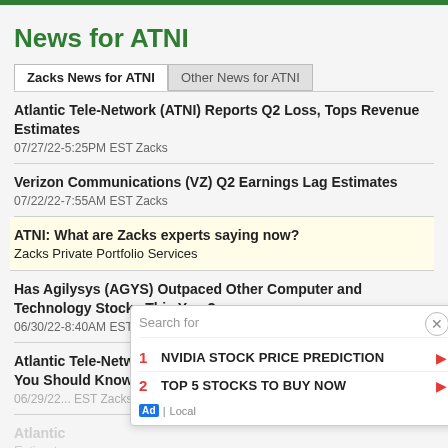News for ATNI
Zacks News for ATNI | Other News for ATNI
Atlantic Tele-Network (ATNI) Reports Q2 Loss, Tops Revenue Estimates
07/27/22-5:25PM EST Zacks
Verizon Communications (VZ) Q2 Earnings Lag Estimates
07/22/22-7:55AM EST Zacks
ATNI: What are Zacks experts saying now?
Zacks Private Portfolio Services
Has Agilysys (AGYS) Outpaced Other Computer and Technology Stocks This Year?
06/30/22-8:40AM EST Zacks
Atlantic Tele-Network (ATNI) Upgraded to Buy: Here's What You Should Know
06/29/22... EST Zacks
Atlantic
Estimates
04/27/22...
[Figure (screenshot): Ad overlay with search box, two sponsored results: 1. NVIDIA STOCK PRICE PREDICTION, 2. TOP 5 STOCKS TO BUY NOW, with close button, eye icon, and Ad/Local footer]